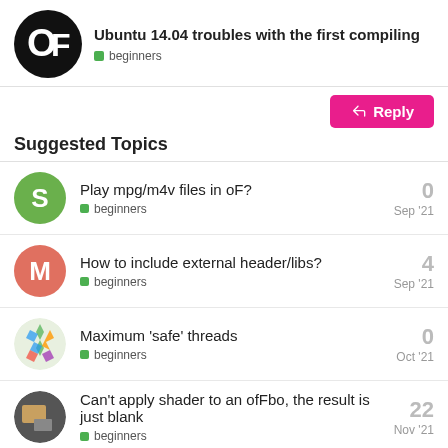Ubuntu 14.04 troubles with the first compiling — beginners
Suggested Topics
Play mpg/m4v files in oF? | beginners | Sep '21 | 0
How to include external header/libs? | beginners | Sep '21 | 4
Maximum 'safe' threads | beginners | Oct '21 | 0
Can't apply shader to an ofFbo, the result is just blank | beginners | Nov '21 | 22
☑ ofxGuiExample is not working in iOS | 6